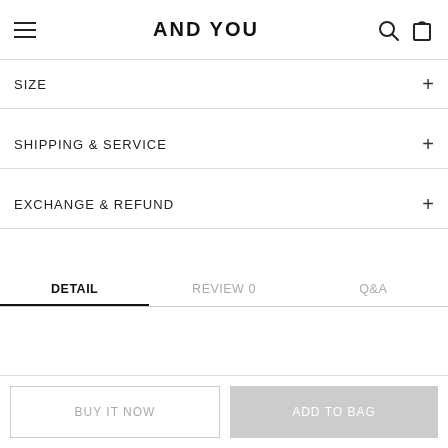AND YOU
SIZE
SHIPPING & SERVICE
EXCHANGE & REFUND
DETAIL | REVIEW 0 | Q&A
BUY IT NOW
ADD TO BAG